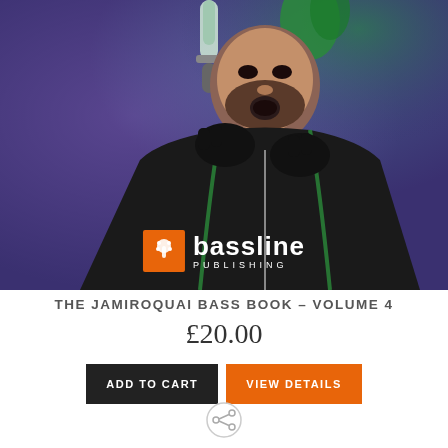[Figure (photo): A male singer performing on stage, holding a microphone close to his mouth, wearing black gloves and a dark jacket with green accents. Purple/blue stage lighting in background. Bassline Publishing logo overlaid in lower center.]
THE JAMIROQUAI BASS BOOK – VOLUME 4
£20.00
ADD TO CART
VIEW DETAILS